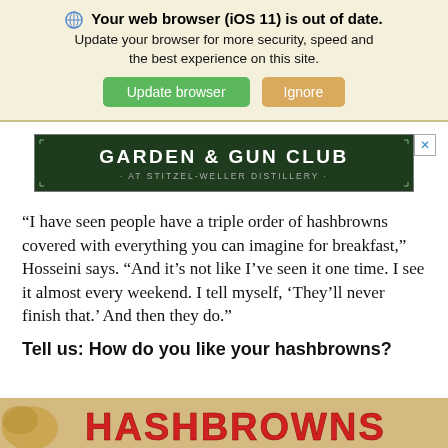🌐 Your web browser (iOS 11) is out of date. Update your browser for more security, speed and the best experience on this site. [Update browser] [Ignore]
[Figure (other): Advertisement banner for Garden & Gun Club at Stitzel-Weller Distillery, dark green background with white text and decorative border]
“I have seen people have a triple order of hashbrowns covered with everything you can imagine for breakfast,” Hosseini says. “And it’s not like I’ve seen it one time. I see it almost every weekend. I tell myself, ‘They’ll never finish that.’ And then they do.”
Tell us: How do you like your hashbrowns?
[Figure (photo): Partial image at bottom showing hashbrowns food item with red text reading HASHBROWNS on a tan/beige background]